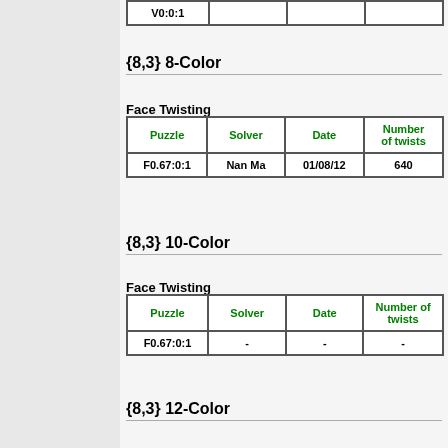| V0:0:1 |  |  |  |
| --- | --- | --- | --- |
{8,3} 8-Color
Face Twisting
| Puzzle | Solver | Date | Number of twists |
| --- | --- | --- | --- |
| F0.67:0:1 | Nan Ma | 01/08/12 | 640 |
{8,3} 10-Color
Face Twisting
| Puzzle | Solver | Date | Number of twists |
| --- | --- | --- | --- |
| F0.67:0:1 | - | - | - |
{8,3} 12-Color